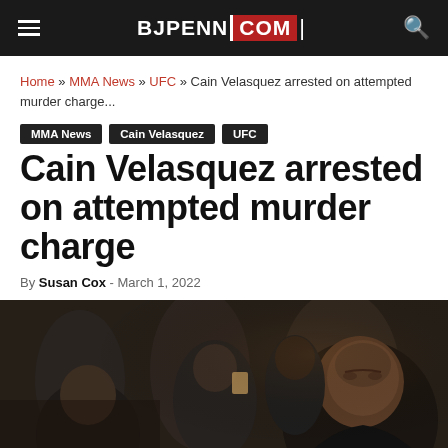BJPENN.COM
Home » MMA News » UFC » Cain Velasquez arrested on attempted murder charge...
MMA News
Cain Velasquez
UFC
Cain Velasquez arrested on attempted murder charge
By Susan Cox - March 1, 2022
[Figure (photo): Photo of Cain Velasquez in a dark setting, with crowd and security personnel in the background]